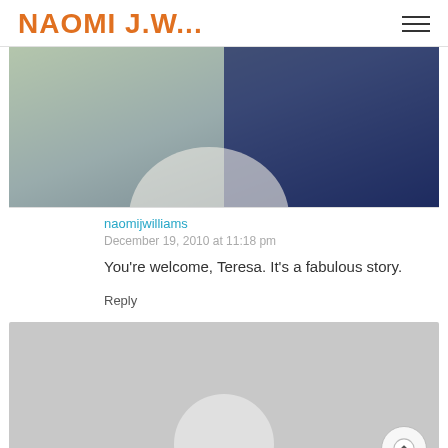NAOMI J.W...
[Figure (photo): Top portion of a person wearing blue, partially visible, outdoor background]
naomijwilliams
December 19, 2010 at 11:18 pm
You're welcome, Teresa. It's a fabulous story.
Reply
[Figure (photo): Gray placeholder avatar image with circular silhouette at bottom center]